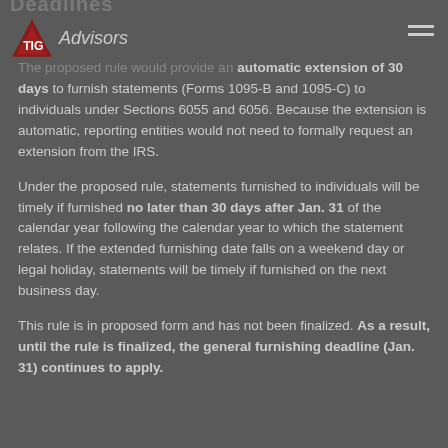Deadlines
The proposed rule would provide an automatic extension of 30 days to furnish statements (Forms 1095-B and 1095-C) to individuals under Sections 6055 and 6056. Because the extension is automatic, reporting entities would not need to formally request an extension from the IRS.
Under the proposed rule, statements furnished to individuals will be timely if furnished no later than 30 days after Jan. 31 of the calendar year following the calendar year to which the statement relates. If the extended furnishing date falls on a weekend day or legal holiday, statements will be timely if furnished on the next business day.
This rule is in proposed form and has not been finalized. As a result, until the rule is finalized, the general furnishing deadline (Jan. 31) continues to apply.